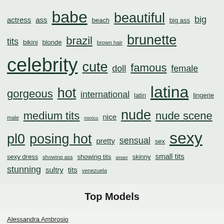[Figure (infographic): Tag cloud with words of varying sizes: actress, ass, babe, beach, beautiful, big ass, big tits, bikini, blonde, brazil, brown hair, brunette, celebrity, cute, doll, famous, female, gorgeous, hot, international, latin, latina, lingerie, male, medium tits, mexico, nice, nude, nude scene, pl0, posing hot, pretty, sensual, sex, sexy, sexy dress, showing ass, showing tits, singer, skinny, small tits, stunning, sultry, tits, venezuela]
Top Models
Alessandra Ambrosio
Adriana Lima